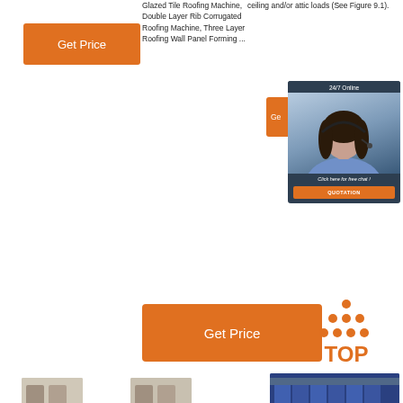ceiling and/or attic loads (See Figure 9.1).
[Figure (other): Orange 'Get Price' button on the left side]
Glazed Tile Roofing Machine, Double Layer Rib Corrugated Roofing Machine, Three Layer Roofing Wall Panel Forming ...
[Figure (other): 24/7 Online chat widget with a woman wearing headset and 'Click here for free chat!' text and QUOTATION button]
[Figure (other): Orange 'Get Price' button (partial, showing 'Ge')]
[Figure (other): Orange 'Get Price' button in center]
[Figure (logo): TOP icon with orange dots arranged as triangle above the word TOP in orange]
[Figure (photo): Industrial machinery photo at bottom right]
[Figure (photo): Small thumbnail image bottom left]
[Figure (photo): Small thumbnail image bottom center]